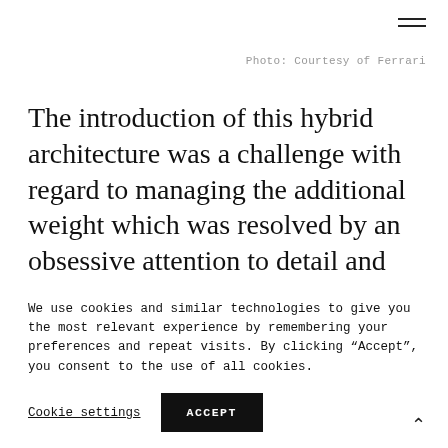Photo: Courtesy of Ferrari
The introduction of this hybrid architecture was a challenge with regard to managing the additional weight which was resolved by an obsessive attention to detail and the overall optimisation of the whole of the car. For maximum performance in terms of overall weight, rigidity and centre of gravity, the
We use cookies and similar technologies to give you the most relevant experience by remembering your preferences and repeat visits. By clicking “Accept”, you consent to the use of all cookies.
Cookie settings
ACCEPT